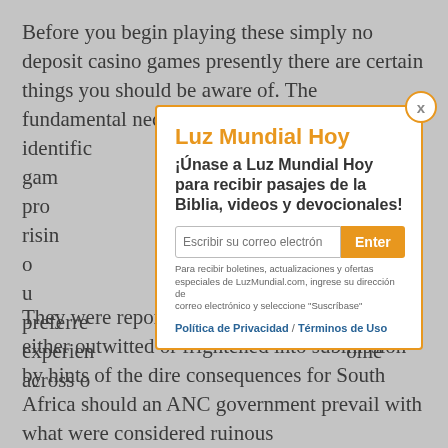Before you begin playing these simply no deposit casino games presently there are certain things you should be aware of. The fundamental necessity will be to verify your identific... finished the gam... ntity. How pro... when I was risin... to wager o... people usually u... e preferre... he experien... ome across o...
[Figure (screenshot): Modal popup for 'Luz Mundial Hoy' newsletter signup with orange title, Spanish subtitle '¡Únase a Luz Mundial Hoy para recibir pasajes de la Biblia, videos y devocionales!', email input field, orange 'Enter' button, small print about receiving newsletters from LuzMundial.com, and links to Política de Privacidad and Términos de Uso. Orange X close button in top right corner.]
They were reporting to Mandela, and were either outwitted or frightened into submission by hints of the dire consequences for South Africa should an ANC government prevail with what were considered ruinous